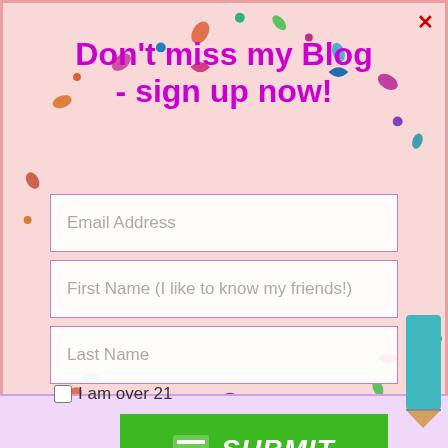Don't miss my Blog - sign up now!
Email Address
First Name (I like to know my friends!)
Last Name
I am over 21
SUBMIT